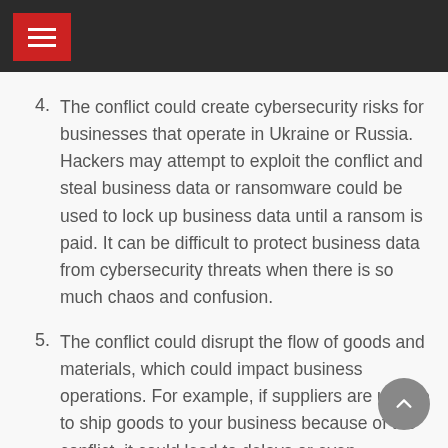4. The conflict could create cybersecurity risks for businesses that operate in Ukraine or Russia. Hackers may attempt to exploit the conflict and steal business data or ransomware could be used to lock up business data until a ransom is paid. It can be difficult to protect business data from cybersecurity threats when there is so much chaos and confusion.
5. The conflict could disrupt the flow of goods and materials, which could impact business operations. For example, if suppliers are unable to ship goods to your business because of the conflict, it could lead to delays or even stoppages in business